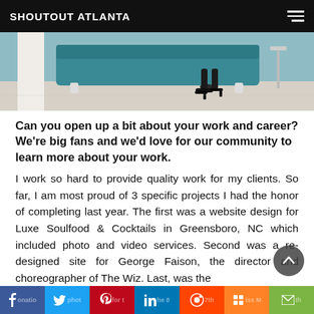SHOUTOUT ATLANTA
[Figure (photo): Partial view of a woman's legs wearing black high heels, seated on a teal/turquoise sofa or chair on a light hardwood floor. Cropped to show only the lower portion.]
Can you open up a bit about your work and career? We're big fans and we'd love for our community to learn more about your work.
I work so hard to provide quality work for my clients. So far, I am most proud of 3 specific projects I had the honor of completing last year. The first was a website design for Luxe Soulfood & Cocktails in Greensboro, NC which included photo and video services. Second was a re-designed site for George Faison, the director and choreographer of The Wiz. Last, was the
f donation photo for the 87th Miss Mth